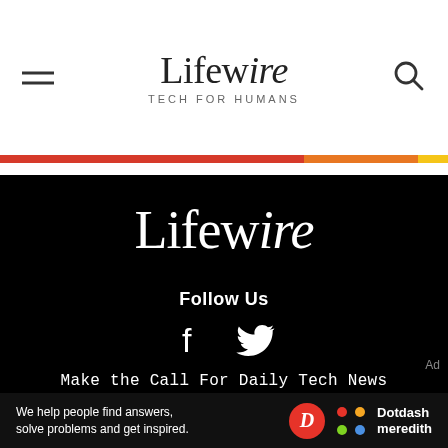Lifewire — TECH FOR HUMANS
[Figure (logo): Lifewire logo in white on black background with tagline TECH FOR HUMANS]
Follow Us
Make the Call For Daily Tech News
ONE-TAP SIGN UP
Ad
We help people find answers, solve problems and get inspired. Dotdash meredith